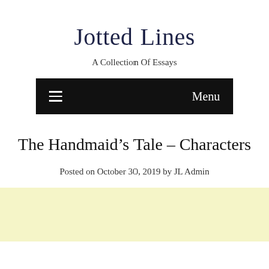Jotted Lines
A Collection Of Essays
Menu
The Handmaid’s Tale – Characters
Posted on October 30, 2019 by JL Admin